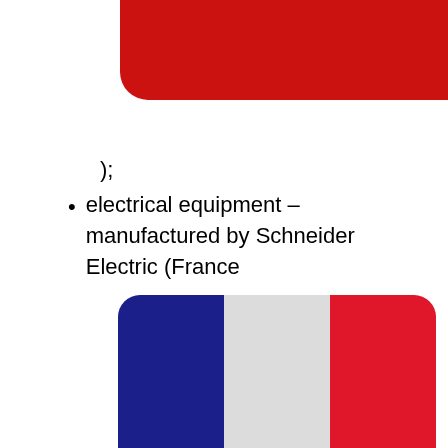[Figure (illustration): Rounded rectangle with red background color, partially cropped at top of page]
);
electrical equipment – manufactured by Schneider Electric (France
[Figure (illustration): French flag (tricolor: blue, white, red vertical stripes) with rounded corners, partially cropped at bottom of page]